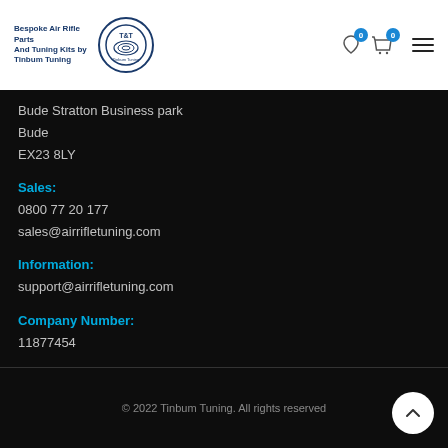Bespoke Air Rifle Parts And Tuning Kits by Tinbum Tuning
Bude Stratton Business park
Bude
EX23 8LY
Sales:
0800 77 20 177
sales@airrifletuning.com
Information:
support@airrifletuning.com
Company Number:
11877454
© 2022 Tinbum Tuning. All rights reserved